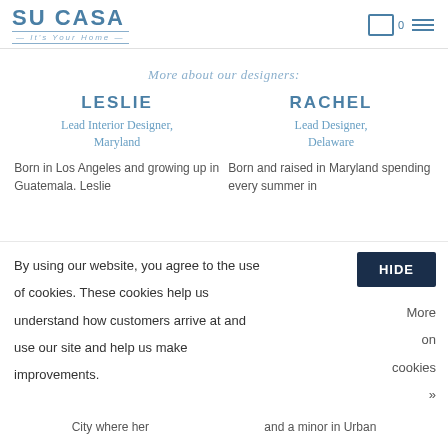SU CASA — It's Your Home
More about our designers:
LESLIE
Lead Interior Designer, Maryland
Born in Los Angeles and growing up in Guatemala. Leslie
RACHEL
Lead Designer, Delaware
Born and raised in Maryland spending every summer in
By using our website, you agree to the use of cookies. These cookies help us understand how customers arrive at and use our site and help us make improvements.
HIDE
More on cookies »
City where her
and a minor in Urban